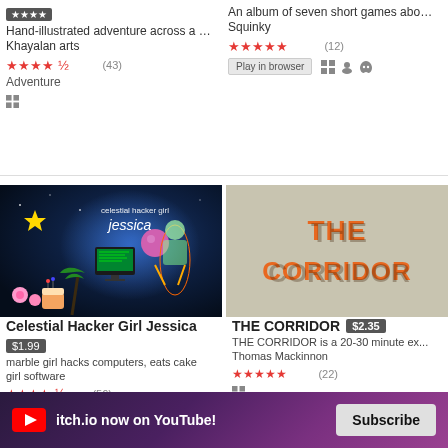Hand-illustrated adventure across a p... | Khayalan arts | ★★★★½ (43) | Adventure | Windows
An album of seven short games about f... | Squinky | ★★★★★ (12) | Play in browser | Windows | Linux | Mac
[Figure (screenshot): Celestial Hacker Girl Jessica game cover art - dark blue cosmic background with text 'celestial hacker girl jessica', featuring colorful 3D objects including a computer, pink ball, star, palm trees and flowering plants]
Celestial Hacker Girl Jessica $1.99 | marble girl hacks computers, eats cake | girl software | ★★★★½ (56) | Platformer
[Figure (screenshot): THE CORRIDOR game cover art - gray/beige background with bold orange 3D text reading THE CORRIDOR]
THE CORRIDOR $2.35 | THE CORRIDOR is a 20-30 minute ex... | Thomas Mackinnon | ★★★★★ (22) | Windows
itch.io now on YouTube! Subscribe